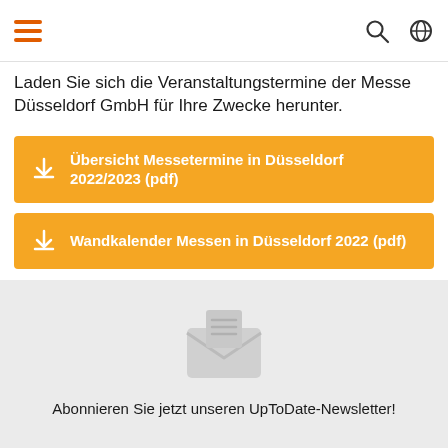[hamburger menu icon] [search icon] [globe icon]
Laden Sie sich die Veranstaltungstermine der Messe Düsseldorf GmbH für Ihre Zwecke herunter.
↓ Übersicht Messetermine in Düsseldorf 2022/2023 (pdf)
↓ Wandkalender Messen in Düsseldorf 2022 (pdf)
[Figure (illustration): Newsletter envelope icon with lines indicating a letter, displayed in light gray on a gray background]
Abonnieren Sie jetzt unseren UpToDate-Newsletter!